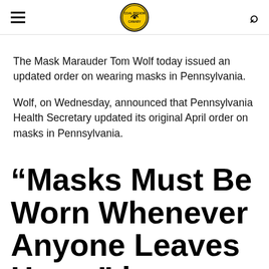Coal Region Canary
The Mask Marauder Tom Wolf today issued an updated order on wearing masks in Pennsylvania.
Wolf, on Wednesday, announced that Pennsylvania Health Secretary updated its original April order on masks in Pennsylvania.
“Masks Must Be Worn Whenever Anyone Leaves Home” in